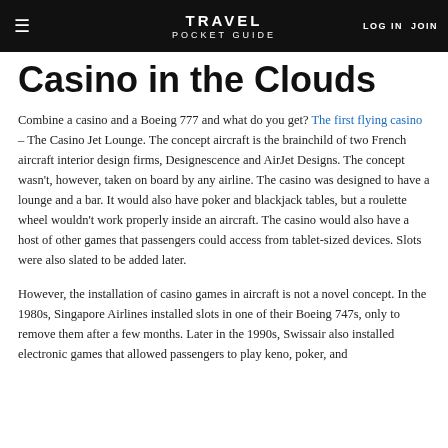TRAVEL POCKET GUIDE | LOG IN  JOIN
Casino in the Clouds
Combine a casino and a Boeing 777 and what do you get? The first flying casino – The Casino Jet Lounge. The concept aircraft is the brainchild of two French aircraft interior design firms, Designescence and AirJet Designs. The concept wasn't, however, taken on board by any airline. The casino was designed to have a lounge and a bar. It would also have poker and blackjack tables, but a roulette wheel wouldn't work properly inside an aircraft. The casino would also have a host of other games that passengers could access from tablet-sized devices. Slots were also slated to be added later.
However, the installation of casino games in aircraft is not a novel concept. In the 1980s, Singapore Airlines installed slots in one of their Boeing 747s, only to remove them after a few months. Later in the 1990s, Swissair also installed electronic games that allowed passengers to play keno, poker, and